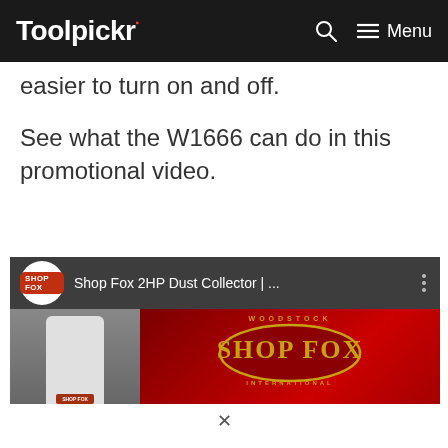Toolpickr — Menu
easier to turn on and off.
See what the W1666 can do in this promotional video.
[Figure (screenshot): YouTube video thumbnail for Shop Fox 2HP Dust Collector showing the product and Shop Fox brand logo on red background]
[Figure (screenshot): Advertisement banner: Just $2 can protect 1 acre of irreplaceable forest homes in the Amazon. How many acres are you willing to protect? PROTECT FORESTS NOW]